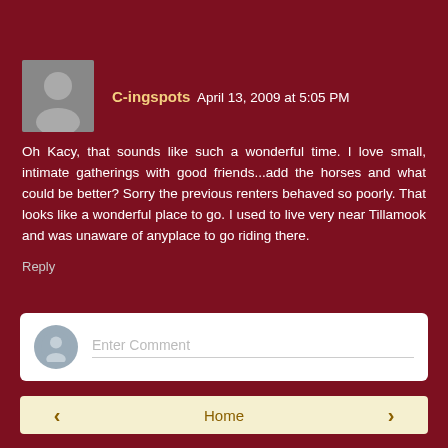C-ingspots April 13, 2009 at 5:05 PM
Oh Kacy, that sounds like such a wonderful time. I love small, intimate gatherings with good friends...add the horses and what could be better? Sorry the previous renters behaved so poorly. That looks like a wonderful place to go. I used to live very near Tillamook and was unaware of anyplace to go riding there.
Reply
Enter Comment
*Thank you for visiting, I Love to read your friendly nickers below!
‹
Home
›